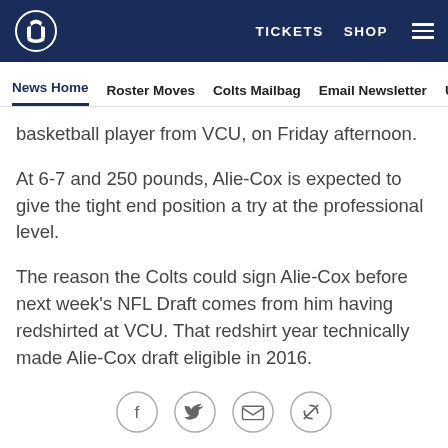Indianapolis Colts website header with logo, TICKETS, SHOP, and menu
News Home | Roster Moves | Colts Mailbag | Email Newsletter | U
basketball player from VCU, on Friday afternoon.
At 6-7 and 250 pounds, Alie-Cox is expected to give the tight end position a try at the professional level.
The reason the Colts could sign Alie-Cox before next week's NFL Draft comes from him having redshirted at VCU. That redshirt year technically made Alie-Cox draft eligible in 2016.
Alie-Cox comes to Indianapolis with more experience than Swoope did three years ago.
When Alie-Cox transferred high schools following his
[Figure (infographic): Social sharing icons: Facebook, Twitter, Email, and link/tag icon in circular outlines]